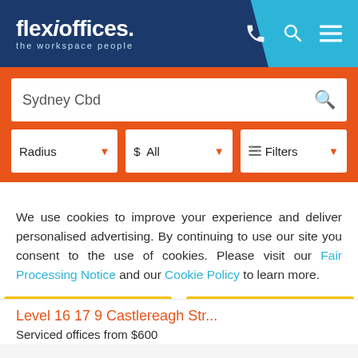[Figure (screenshot): Flexi Offices website header with dark blue diagonal background showing logo 'flexioffices. the workspace people' and cyan background on right with phone, search, and menu icons]
[Figure (screenshot): Orange search bar background with white search input showing 'Sydney Cbd' and search icon, and three filter dropdowns: Radius, $ All, and Filters]
We use cookies to improve your experience and deliver personalised advertising. By continuing to use our site you consent to the use of cookies. Please visit our Fair Processing Notice and our Cookie Policy to learn more.
Read more
Accept & Close
Level 16 17 9 Castlereagh Str...
Serviced offices from $600